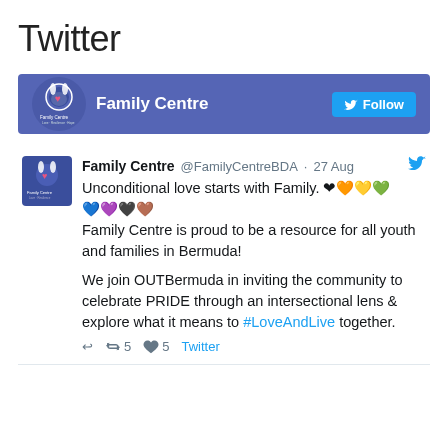Twitter
[Figure (screenshot): Twitter Follow header banner for Family Centre with purple/blue background, logo, account name, and Follow button]
Family Centre @FamilyCentreBDA · 27 Aug
Unconditional love starts with Family. ❤🧡💛💚💙💜🖤🤎
Family Centre is proud to be a resource for all youth and families in Bermuda!

We join OUTBermuda in inviting the community to celebrate PRIDE through an intersectional lens & explore what it means to #LoveAndLive together.
↩ 🔁 5  ♡ 5  Twitter